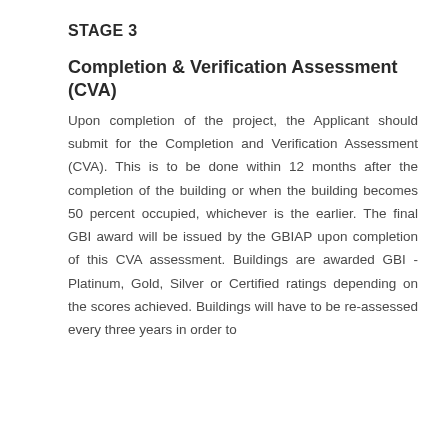STAGE 3
Completion & Verification Assessment (CVA)
Upon completion of the project, the Applicant should submit for the Completion and Verification Assessment (CVA). This is to be done within 12 months after the completion of the building or when the building becomes 50 percent occupied, whichever is the earlier. The final GBI award will be issued by the GBIAP upon completion of this CVA assessment. Buildings are awarded GBI - Platinum, Gold, Silver or Certified ratings depending on the scores achieved. Buildings will have to be re-assessed every three years in order to